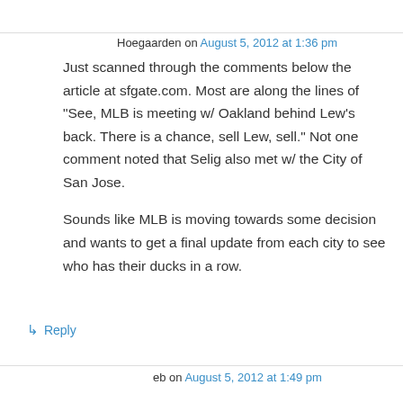Hoegaarden on August 5, 2012 at 1:36 pm
Just scanned through the comments below the article at sfgate.com. Most are along the lines of “See, MLB is meeting w/ Oakland behind Lew’s back. There is a chance, sell Lew, sell.” Not one comment noted that Selig also met w/ the City of San Jose.
Sounds like MLB is moving towards some decision and wants to get a final update from each city to see who has their ducks in a row.
↳ Reply
eb on August 5, 2012 at 1:49 pm